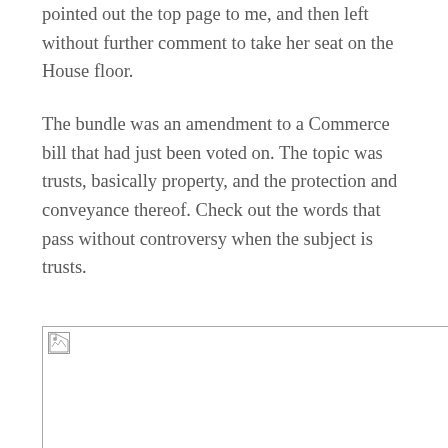pointed out the top page to me, and then left without further comment to take her seat on the House floor.
The bundle was an amendment to a Commerce bill that had just been voted on. The topic was trusts, basically property, and the protection and conveyance thereof. Check out the words that pass without controversy when the subject is trusts.
[Figure (other): Broken image placeholder icon at the top-left of a large empty image region]